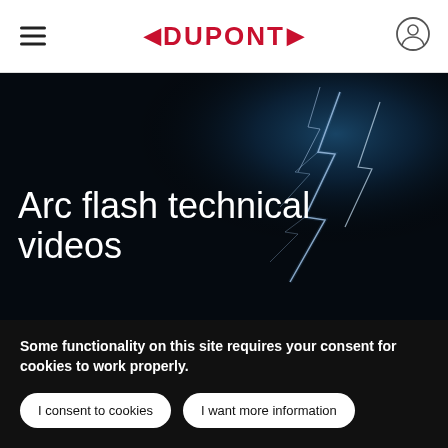[Figure (logo): DuPont logo with red chevron arrows and red text on white header bar, with hamburger menu icon on left and user/account icon on right]
[Figure (photo): Dark hero image with electric arc flash lightning bolts on a dark blue/black background]
Arc flash technical videos
Some functionality on this site requires your consent for cookies to work properly.
I consent to cookies
I want more information